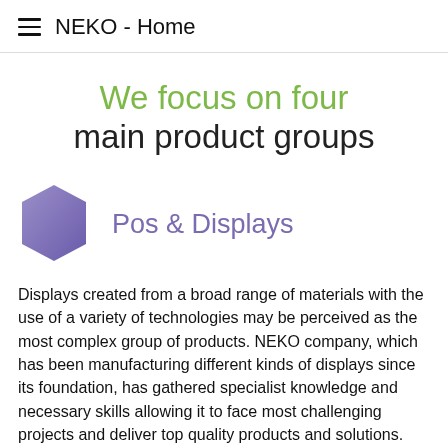NEKO - Home
We focus on four main product groups
Pos & Displays
Displays created from a broad range of materials with the use of a variety of technologies may be perceived as the most complex group of products. NEKO company, which has been manufacturing different kinds of displays since its foundation, has gathered specialist knowledge and necessary skills allowing it to face most challenging projects and deliver top quality products and solutions.